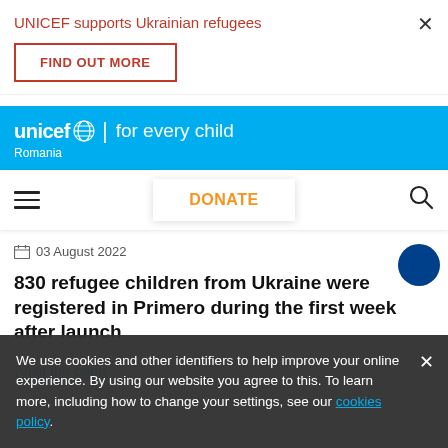UNICEF supports Ukrainian refugees
FIND OUT MORE
[Figure (logo): UNICEF logo with globe icon and tagline 'for every child', with country label 'Romania' on blue background]
DONATE
03 August 2022
830 refugee children from Ukraine were registered in Primero during the first week after launch
>Visit the page
We use cookies and other identifiers to help improve your online experience. By using our website you agree to this. To learn more, including how to change your settings, see our cookies policy.